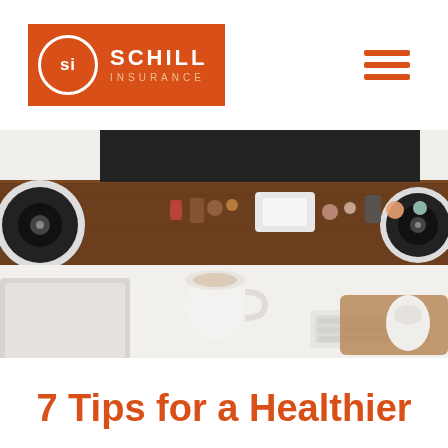Schill Insurance
[Figure (photo): Overhead view of a desktop workspace with speakers, a computer monitor, a coffee mug, keyboard, mouse, and various small decorative items on a wooden desk surface.]
7 Tips for a Healthier